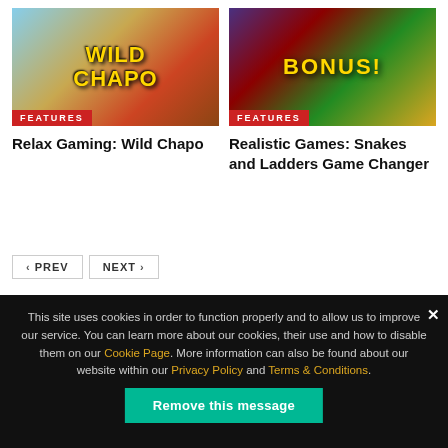[Figure (screenshot): Wild Chapo slot game thumbnail with FEATURES badge]
[Figure (screenshot): Snakes and Ladders Game Changer slot thumbnail with FEATURES badge and BONUS! text]
Relax Gaming: Wild Chapo
Realistic Games: Snakes and Ladders Game Changer
< PREV   NEXT >
This site uses cookies in order to function properly and to allow us to improve our service. You can learn more about our cookies, their use and how to disable them on our Cookie Page. More information can also be found about our website within our Privacy Policy and Terms & Conditions.
Remove this message